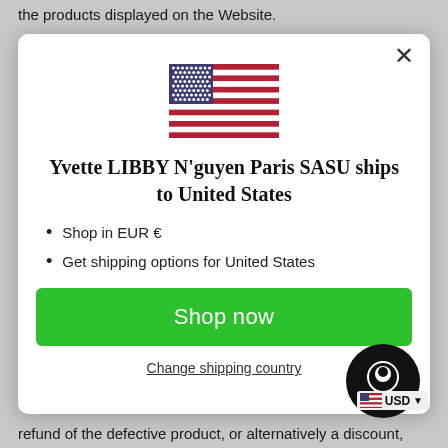the products displayed on the Website.
[Figure (screenshot): Modal dialog showing US flag, title 'Yvette LIBBY N'guyen Paris SASU ships to United States', bullet points for EUR and shipping options, a green 'Shop now' button, and a 'Change shipping country' link.]
refund of the defective product, or alternatively a discount,